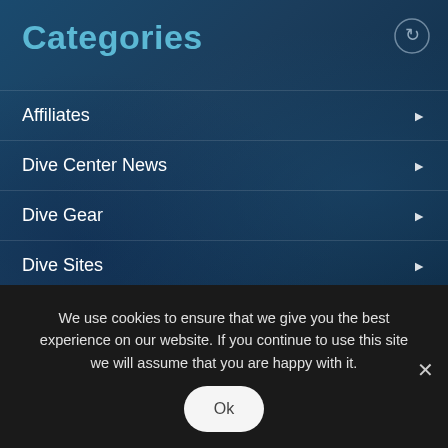Categories
Affiliates
Dive Center News
Dive Gear
Dive Sites
Diving Liveaboards
home page features
Merchandise
We use cookies to ensure that we give you the best experience on our website. If you continue to use this site we will assume that you are happy with it.
Ok